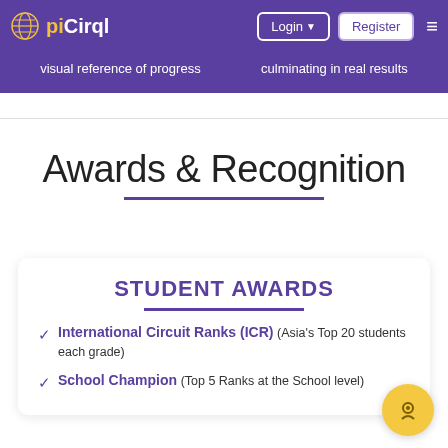piCirql — Login | Register
visual reference of progress
culminating in real results
Awards & Recognition
STUDENT AWARDS
International Circuit Ranks (ICR) (Asia's Top 20 students each grade)
School Champion (Top 5 Ranks at the School level)